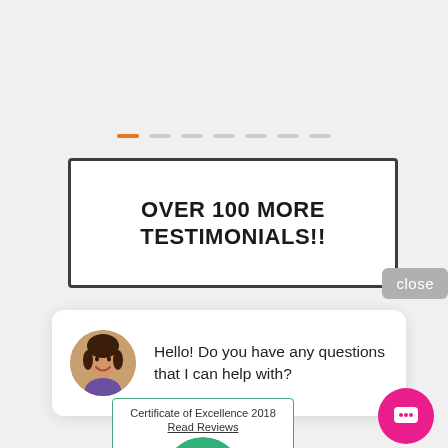[Figure (other): Pagination dots: one orange active dot followed by six grey dots]
OVER 100 MORE TESTIMONIALS!!
close
[Figure (other): Chat widget with avatar photo of a smiling woman and message: Hello! Do you have any questions that I can help with?]
Hello! Do you have any questions that I can help with?
[Figure (other): TripAdvisor Certificate of Excellence 2018 badge with Read Reviews link and TripAdvisor owl logo on green circle]
[Figure (other): Pink circular chat button with message icon]